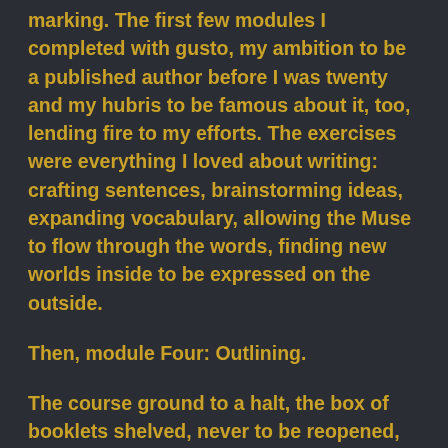marking. The first few modules I completed with gusto, my ambition to be a published author before I was twenty and my hubris to be famous about it, too, lending fire to my efforts. The exercises were everything I loved about writing: crafting sentences, brainstorming ideas, expanding vocabulary, allowing the Muse to flow through the words, finding new worlds inside to be expressed on the outside.
Then, module Four: Outlining.
The course ground to a halt, the box of booklets shelved, never to be reopened, even at my mother's frustrated, futile prodding. (Sorry, Mom). I attributed this sudden dislike for the task of writing to the fact it felt like homework (because it was), to the deadlines that were too strict while working full time, to the procrastination tendencies I already struggled with, and to the life events that overwhelmed me, but, looking back, I think I